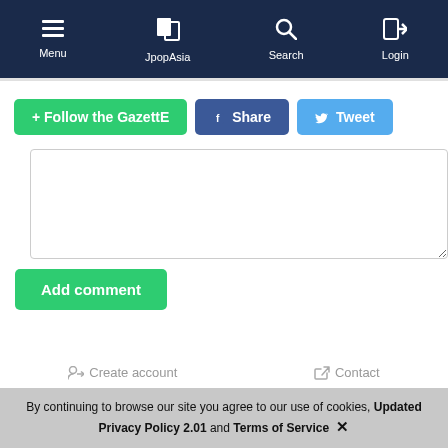Menu | JpopAsia | Search | Login
+ Follow the GazettE  Share  Tweet
[Figure (screenshot): Empty comment text area input box]
Add comment
Create account  Contact
By continuing to browse our site you agree to our use of cookies, Updated Privacy Policy 2.01 and Terms of Service ×